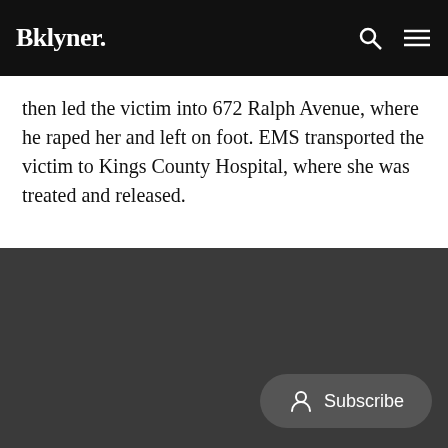Bklyner.
then led the victim into 672 Ralph Avenue, where he raped her and left on foot. EMS transported the victim to Kings County Hospital, where she was treated and released.
[Figure (photo): Dark gray image area with a Subscribe button overlay in the bottom right corner]